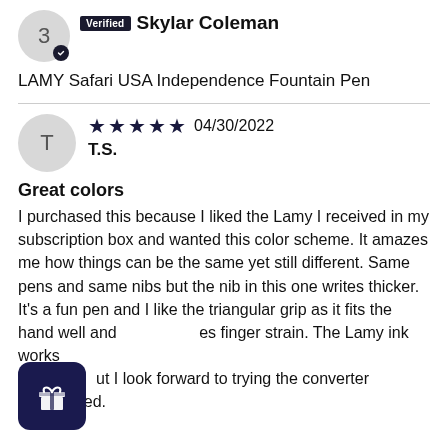Verified Skylar Coleman
LAMY Safari USA Independence Fountain Pen
★★★★★ 04/30/2022 T.S.
Great colors
I purchased this because I liked the Lamy I received in my subscription box and wanted this color scheme. It amazes me how things can be the same yet still different. Same pens and same nibs but the nib in this one writes thicker. It's a fun pen and I like the triangular grip as it fits the hand well and reduces finger strain. The Lamy ink works out but I look forward to trying the converter I purchased.